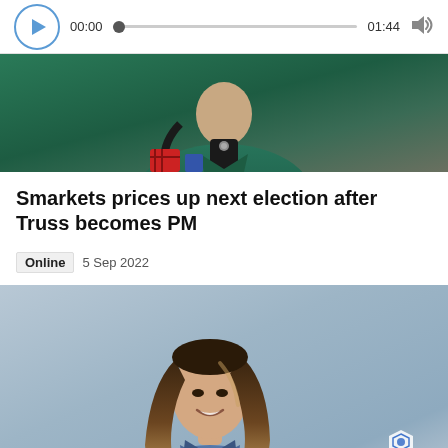[Figure (other): Audio player bar with play button, time 00:00 and 01:44, progress bar, and volume icon]
[Figure (photo): Person in green/teal coat, upper body, dark background]
Smarkets prices up next election after Truss becomes PM
Online  5 Sep 2022
[Figure (photo): Woman with long brown wavy hair wearing a denim jacket, smiling, light blue/grey background. FanDuel TV watermark visible in bottom right.]